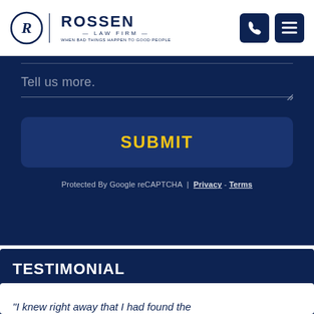Rossen Law Firm — When bad things happen to good people
Tell us more.
SUBMIT
Protected By Google reCAPTCHA | Privacy - Terms
TESTIMONIAL
“I knew right away that I had found the